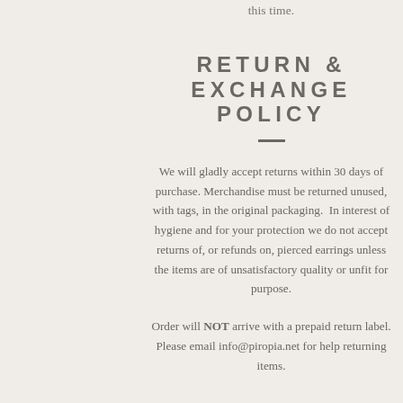this time.
RETURN & EXCHANGE POLICY
We will gladly accept returns within 30 days of purchase. Merchandise must be returned unused, with tags, in the original packaging.  In interest of hygiene and for your protection we do not accept returns of, or refunds on, pierced earrings unless the items are of unsatisfactory quality or unfit for purpose.
Order will NOT arrive with a prepaid return label. Please email info@piropia.net for help returning items.